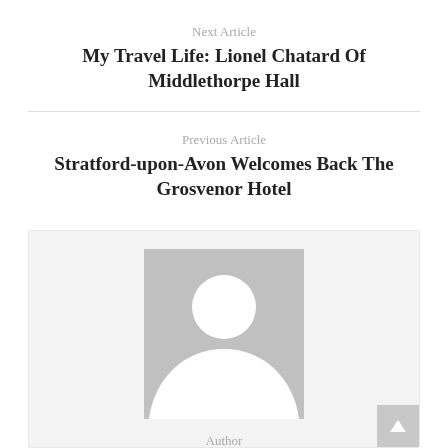Next Article
My Travel Life: Lionel Chatard Of Middlethorpe Hall
Previous Article
Stratford-upon-Avon Welcomes Back The Grosvenor Hotel
[Figure (illustration): Default author avatar placeholder — grey square with white silhouette of a person (head circle and shoulders)]
Author